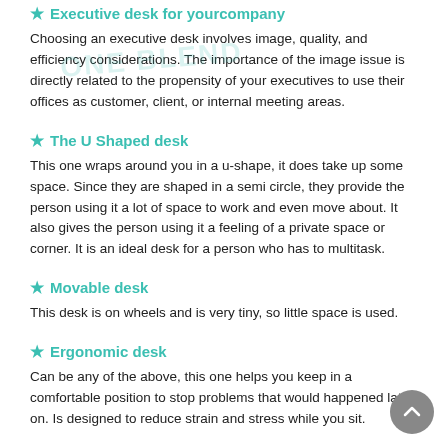Executive desk for your company
Choosing an executive desk involves image, quality, and efficiency considerations. The importance of the image issue is directly related to the propensity of your executives to use their offices as customer, client, or internal meeting areas.
The U Shaped desk
This one wraps around you in a u-shape, it does take up some space. Since they are shaped in a semi circle, they provide the person using it a lot of space to work and even move about. It also gives the person using it a feeling of a private space or corner. It is an ideal desk for a person who has to multitask.
Movable desk
This desk is on wheels and is very tiny, so little space is used.
Ergonomic desk
Can be any of the above, this one helps you keep in a comfortable position to stop problems that would happened later on. Is designed to reduce strain and stress while you sit.